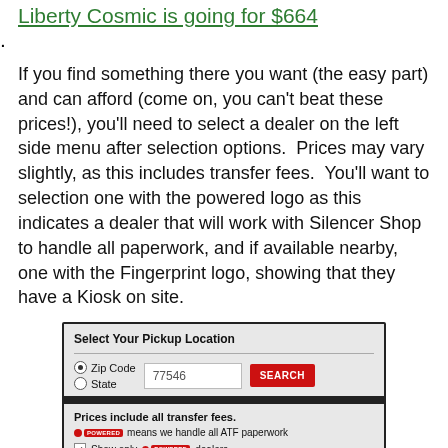Liberty Cosmic is going for $664.
If you find something there you want (the easy part) and can afford (come on, you can't beat these prices!), you'll need to select a dealer on the left side menu after selection options.  Prices may vary slightly, as this includes transfer fees.  You'll want to selection one with the powered logo as this indicates a dealer that will work with Silencer Shop to handle all paperwork, and if available nearby, one with the Fingerprint logo, showing that they have a Kiosk on site.
[Figure (screenshot): Screenshot of a dealer selection UI showing 'Select Your Pickup Location' with Zip Code/State radio buttons, input field showing 77546, a red SEARCH button, a section saying 'Prices include all transfer fees.' with POWERED badge explanation, a checkbox to show only POWERED dealers, and a dealer entry for WAYMORE GUNS, HOUSTON, TX with 5 red stars and POWERED and fingerprint badges.]